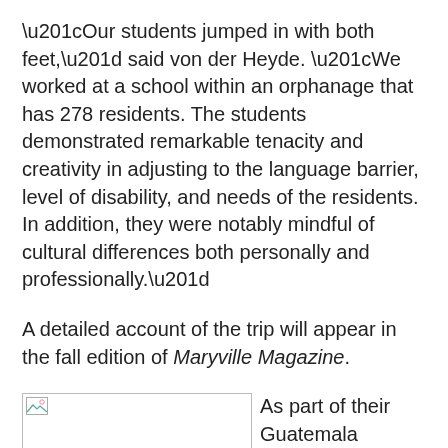“Our students jumped in with both feet,” said von der Heyde. “We worked at a school within an orphanage that has 278 residents. The students demonstrated remarkable tenacity and creativity in adjusting to the language barrier, level of disability, and needs of the residents. In addition, they were notably mindful of cultural differences both personally and professionally.”
A detailed account of the trip will appear in the fall edition of Maryville Magazine.
[Figure (photo): A broken/missing image placeholder icon (small mountains and sun icon) inside a bordered rectangle.]
As part of their Guatemala journey, von der Heyde